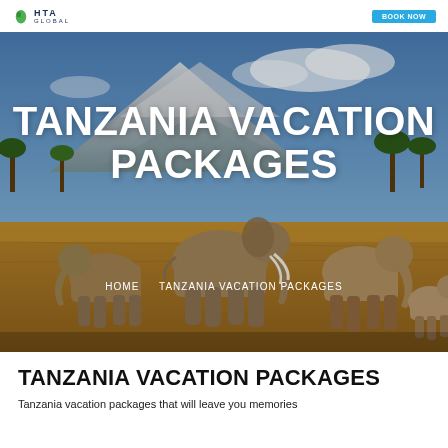HTA GLOBAL — nav bar with logo and button
[Figure (photo): Herd of elephants walking across savanna with Kilimanjaro mountain in background under blue sky with clouds. Hero banner image for Tanzania Vacation Packages page.]
TANZANIA VACATION PACKAGES
HOME   TANZANIA VACATION PACKAGES
TANZANIA VACATION PACKAGES
Tanzania vacation packages that will leave you memories